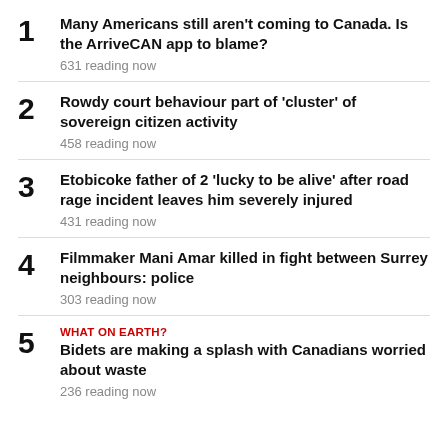1. Many Americans still aren't coming to Canada. Is the ArriveCAN app to blame? 631 reading now
2. Rowdy court behaviour part of 'cluster' of sovereign citizen activity 458 reading now
3. Etobicoke father of 2 'lucky to be alive' after road rage incident leaves him severely injured 431 reading now
4. Filmmaker Mani Amar killed in fight between Surrey neighbours: police 303 reading now
5. WHAT ON EARTH? Bidets are making a splash with Canadians worried about waste 236 reading now